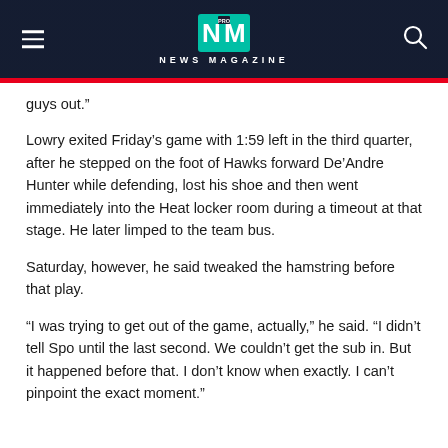NEWS MAGAZINE
guys out.”
Lowry exited Friday’s game with 1:59 left in the third quarter, after he stepped on the foot of Hawks forward De’Andre Hunter while defending, lost his shoe and then went immediately into the Heat locker room during a timeout at that stage. He later limped to the team bus.
Saturday, however, he said tweaked the hamstring before that play.
“I was trying to get out of the game, actually,” he said. “I didn’t tell Spo until the last second. We couldn’t get the sub in. But it happened before that. I don’t know when exactly. I can’t pinpoint the exact moment.”